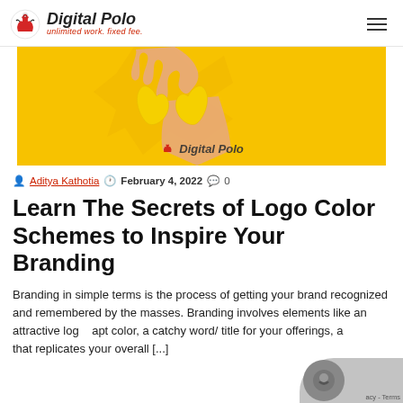Digital Polo — unlimited work. fixed fee.
[Figure (photo): Hero image: hand tearing through yellow paper, with Digital Polo logo watermark on yellow background]
Aditya Kathotia  February 4, 2022  0
Learn The Secrets of Logo Color Schemes to Inspire Your Branding
Branding in simple terms is the process of getting your brand recognized and remembered by the masses. Branding involves elements like an attractive logo, apt color, a catchy word/ title for your offerings, a that replicates your overall [...]